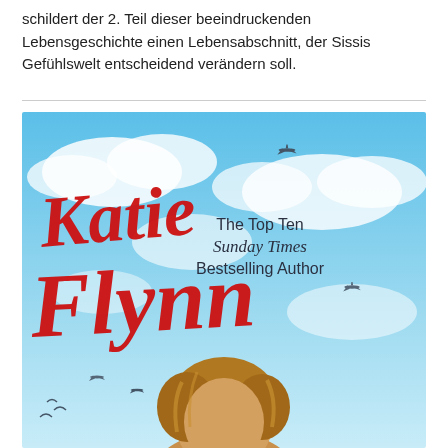schildert der 2. Teil dieser beeindruckenden Lebensgeschichte einen Lebensabschnitt, der Sissis Gefühlswelt entscheidend verändern soll.
[Figure (illustration): Book cover of a Katie Flynn novel showing the author name 'Katie Flynn' in large red cursive script, with the text 'The Top Ten Sunday Times Bestselling Author' in dark text on the right. The background is a blue sky with clouds and small silhouettes of WWII aircraft. The bottom portion shows the top of a young woman's head with blonde/brown hair.]